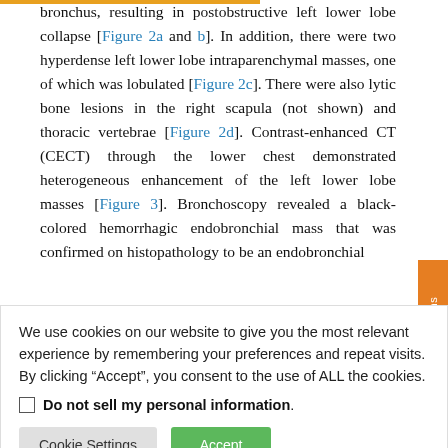bronchus, resulting in postobstructive left lower lobe collapse [Figure 2a and b]. In addition, there were two hyperdense left lower lobe intraparenchymal masses, one of which was lobulated [Figure 2c]. There were also lytic bone lesions in the right scapula (not shown) and thoracic vertebrae [Figure 2d]. Contrast-enhanced CT (CECT) through the lower chest demonstrated heterogeneous enhancement of the left lower lobe masses [Figure 3]. Bronchoscopy revealed a black-colored hemorrhagic endobronchial mass that was confirmed on histopathology to be an endobronchial
We use cookies on our website to give you the most relevant experience by remembering your preferences and repeat visits. By clicking “Accept”, you consent to the use of ALL the cookies.
Do not sell my personal information.
Cookie Settings | Accept